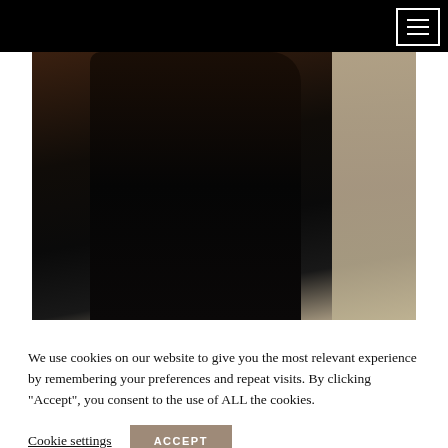[Figure (photo): A person wearing a black outfit photographed from behind/side in a dark interior setting. The right portion shows a lighter wall background.]
We use cookies on our website to give you the most relevant experience by remembering your preferences and repeat visits. By clicking “Accept”, you consent to the use of ALL the cookies.
Cookie settings   ACCEPT